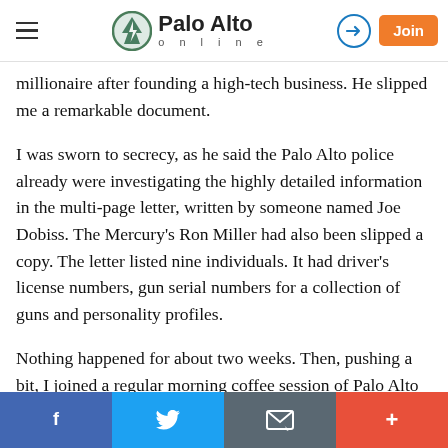Palo Alto online
millionaire after founding a high-tech business. He slipped me a remarkable document.
I was sworn to secrecy, as he said the Palo Alto police already were investigating the highly detailed information in the multi-page letter, written by someone named Joe Dobiss. The Mercury's Ron Miller had also been slipped a copy. The letter listed nine individuals. It had driver's license numbers, gun serial numbers for a collection of guns and personality profiles.
Nothing happened for about two weeks. Then, pushing a bit, I joined a regular morning coffee session of Palo Alto detectives in the back room of a downtown restaurant.
Facebook | Twitter | Email | More